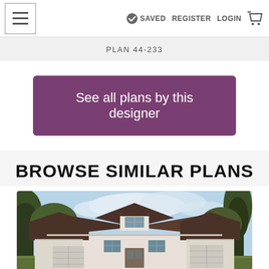☰   ✓ SAVED   REGISTER   LOGIN   🛒
PLAN 44-233
See all plans by this designer
BROWSE SIMILAR PLANS
[Figure (photo): Exterior rendering of a craftsman-style house with dark roof, white walls, multiple gables, dormer window, and trees in background]